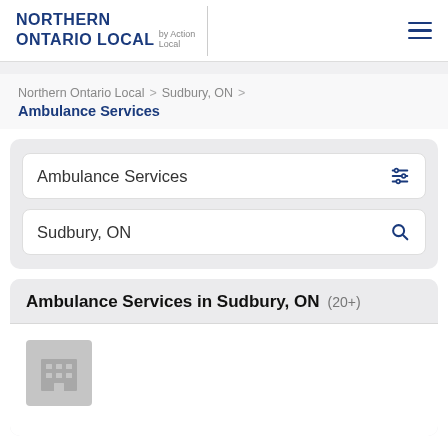NORTHERN ONTARIO LOCAL by Action Local
Northern Ontario Local > Sudbury, ON > Ambulance Services
Ambulance Services
Sudbury, ON
Ambulance Services in Sudbury, ON (20+)
[Figure (illustration): Building/business placeholder icon — gray square with grid of windows pattern]